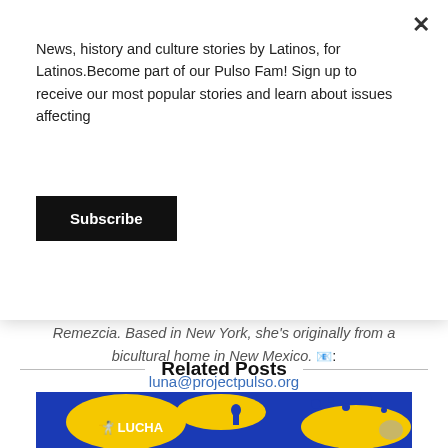News, history and culture stories by Latinos, for Latinos.Become part of our Pulso Fam! Sign up to receive our most popular stories and learn about issues affecting
Subscribe
Remezcia. Based in New York, she's originally from a bicultural home in New Mexico. 📧: luna@projectpulso.org
Related Posts
[Figure (illustration): Blue and yellow graphic image showing 'LUCHA' text with stylized figures and splatter design in blue and yellow colors]